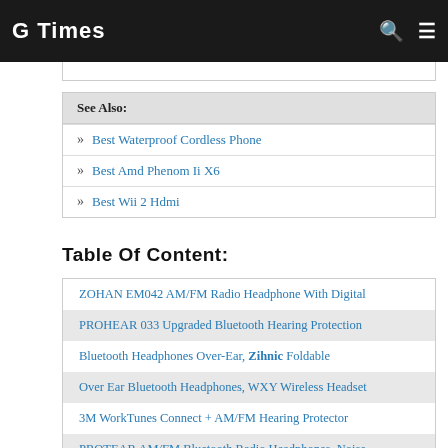G Times
See Also:
Best Waterproof Cordless Phone
Best Amd Phenom Ii X6
Best Wii 2 Hdmi
Table Of Content:
ZOHAN EM042 AM/FM Radio Headphone With Digital
PROHEAR 033 Upgraded Bluetooth Hearing Protection
Bluetooth Headphones Over-Ear, Zihnic Foldable
Over Ear Bluetooth Headphones, WXY Wireless Headset
3M WorkTunes Connect + AM/FM Hearing Protector
PROTEAR AM/FM Bluetooth Radio Headphones, Noise
PROHEAR 037 AM FM Radio Headphones With Digital